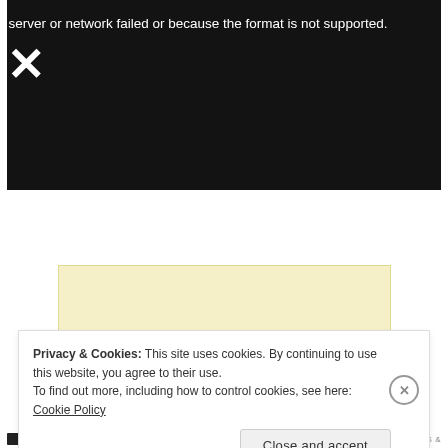[Figure (screenshot): Video player showing error message: 'server or network failed or because the format is not supported.' with an X symbol over a dark background showing people in a room]
server or network failed or because the format is not supported.
[Figure (photo): Partial view of a yellow/cream colored image]
Privacy & Cookies: This site uses cookies. By continuing to use this website, you agree to their use.
To find out more, including how to control cookies, see here: Cookie Policy
Close and accept